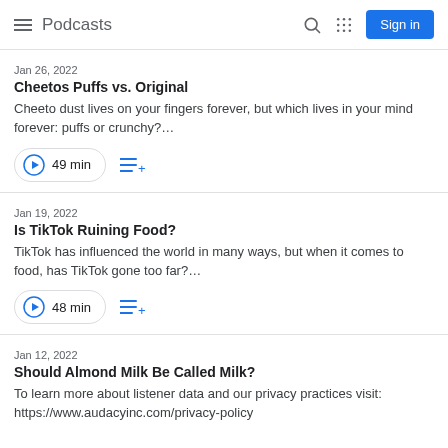Podcasts
Jan 26, 2022
Cheetos Puffs vs. Original
Cheeto dust lives on your fingers forever, but which lives in your mind forever: puffs or crunchy?…
49 min
Jan 19, 2022
Is TikTok Ruining Food?
TikTok has influenced the world in many ways, but when it comes to food, has TikTok gone too far?…
48 min
Jan 12, 2022
Should Almond Milk Be Called Milk?
To learn more about listener data and our privacy practices visit: https://www.audacyinc.com/privacy-policy